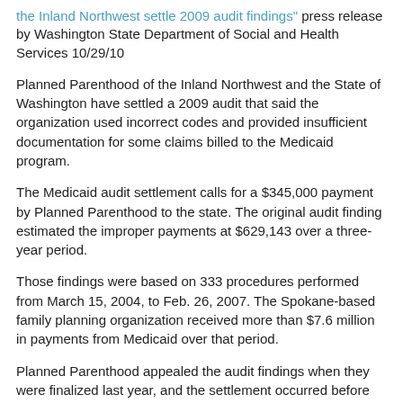the Inland Northwest settle 2009 audit findings" press release by Washington State Department of Social and Health Services 10/29/10
Planned Parenthood of the Inland Northwest and the State of Washington have settled a 2009 audit that said the organization used incorrect codes and provided insufficient documentation for some claims billed to the Medicaid program.
The Medicaid audit settlement calls for a $345,000 payment by Planned Parenthood to the state. The original audit finding estimated the improper payments at $629,143 over a three-year period.
Those findings were based on 333 procedures performed from March 15, 2004, to Feb. 26, 2007. The Spokane-based family planning organization received more than $7.6 million in payments from Medicaid over that period.
Planned Parenthood appealed the audit findings when they were finalized last year, and the settlement occurred before